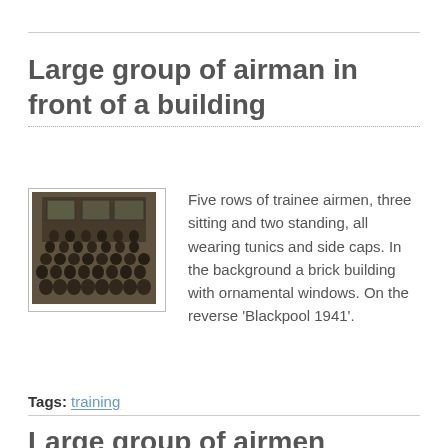Large group of airman in front of a building
[Figure (photo): Black and white photograph of five rows of trainee airmen in front of a brick building, Blackpool 1941]
Five rows of trainee airmen, three sitting and two standing, all wearing tunics and side caps. In the background a brick building with ornamental windows. On the reverse 'Blackpool 1941'.
Tags: training
Large group of airmen